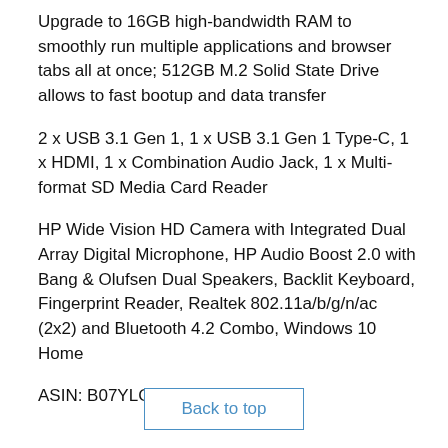Upgrade to 16GB high-bandwidth RAM to smoothly run multiple applications and browser tabs all at once; 512GB M.2 Solid State Drive allows to fast bootup and data transfer
2 x USB 3.1 Gen 1, 1 x USB 3.1 Gen 1 Type-C, 1 x HDMI, 1 x Combination Audio Jack, 1 x Multi-format SD Media Card Reader
HP Wide Vision HD Camera with Integrated Dual Array Digital Microphone, HP Audio Boost 2.0 with Bang & Olufsen Dual Speakers, Backlit Keyboard, Fingerprint Reader, Realtek 802.11a/b/g/n/ac (2x2) and Bluetooth 4.2 Combo, Windows 10 Home
ASIN: B07YLCGP8R
Back to top